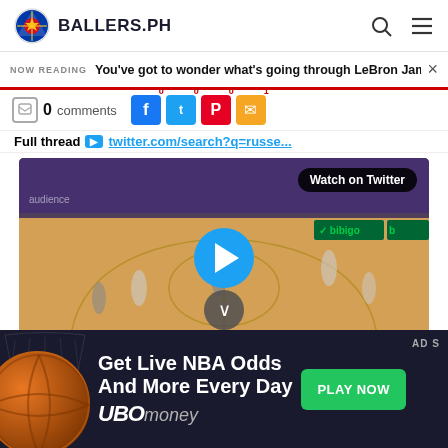BALLERS.PH
NOW READING You've got to wonder what's going through LeBron James'
0 comments  0  0  0  1
Full thread twitter.com/search?q=russe...
[Figure (screenshot): Basketball game video thumbnail showing NBA game between Spurs and Lakers at Crypto.com Arena with Watch on Twitter badge and play button overlay. Score shows Spurs 57, Lakers 65.]
[Figure (infographic): Advertisement banner: Get Live NBA Odds And More Every Day - UBOmoney - PLAY NOW button. Dark background with basketball imagery.]